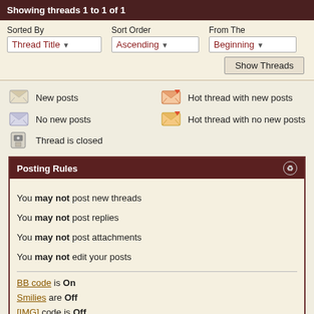Showing threads 1 to 1 of 1
Sorted By: Thread Title | Sort Order: Ascending | From The: Beginning | Show Threads
New posts
Hot thread with new posts
No new posts
Hot thread with no new posts
Thread is closed
Posting Rules
You may not post new threads
You may not post replies
You may not post attachments
You may not edit your posts
BB code is On
Smilies are Off
[IMG] code is Off
HTML code is Off
Forum Rules
[Figure (logo): eBay logo in red, blue, yellow, green]
USSR Soviet Russian canvas strap carrying sling